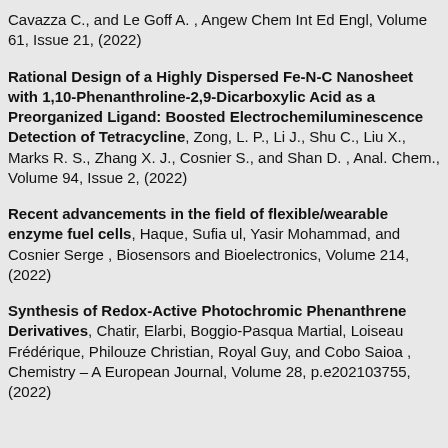Cavazza C., and Le Goff A. , Angew Chem Int Ed Engl, Volume 61, Issue 21, (2022)
Rational Design of a Highly Dispersed Fe-N-C Nanosheet with 1,10-Phenanthroline-2,9-Dicarboxylic Acid as a Preorganized Ligand: Boosted Electrochemiluminescence Detection of Tetracycline, Zong, L. P., Li J., Shu C., Liu X., Marks R. S., Zhang X. J., Cosnier S., and Shan D. , Anal. Chem., Volume 94, Issue 2, (2022)
Recent advancements in the field of flexible/wearable enzyme fuel cells, Haque, Sufia ul, Yasir Mohammad, and Cosnier Serge , Biosensors and Bioelectronics, Volume 214, (2022)
Synthesis of Redox-Active Photochromic Phenanthrene Derivatives, Chatir, Elarbi, Boggio-Pasqua Martial, Loiseau Frédérique, Philouze Christian, Royal Guy, and Cobo Saioa , Chemistry – A European Journal, Volume 28, p.e202103755, (2022)